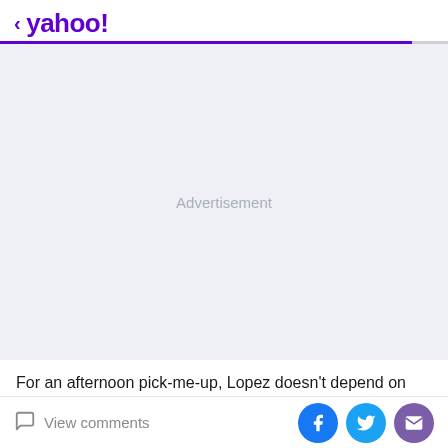< yahoo!
[Figure (other): Advertisement placeholder area with light gray/blue background and centered 'Advertisement' text label]
For an afternoon pick-me-up, Lopez doesn't depend on
View comments  [Facebook] [Twitter] [Mail]